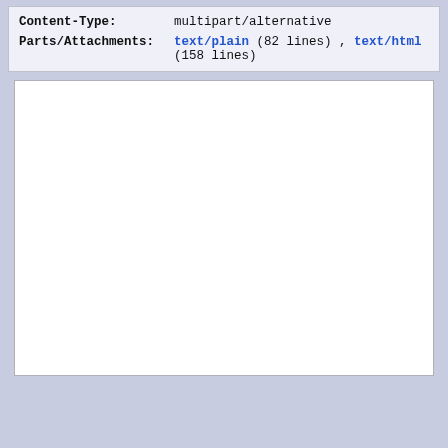Content-Type: multipart/alternative
Parts/Attachments: text/plain (82 lines) , text/html (158 lines)
[Figure (other): Empty white content/preview box with light gray border]